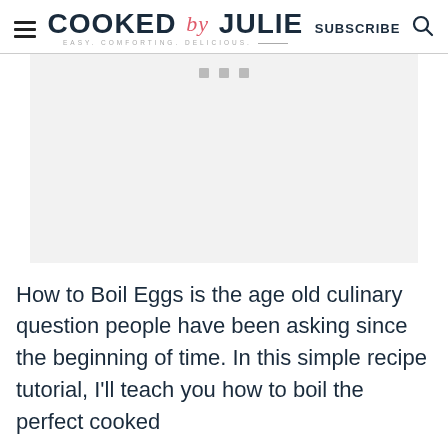COOKED by JULIE — EASY. COMFORTING. DELICIOUS. | SUBSCRIBE | Search
[Figure (other): Advertisement placeholder area with three small gray squares at top center on light gray background]
How to Boil Eggs is the age old culinary question people have been asking since the beginning of time. In this simple recipe tutorial, I'll teach you how to boil the perfect cooked